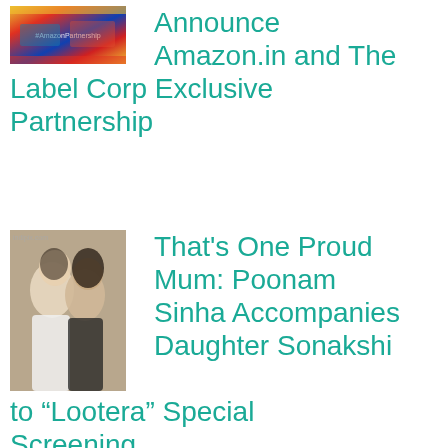[Figure (photo): Thumbnail photo showing people at what appears to be an Amazon.in and Label Corp event with colorful background]
Announce Amazon.in and The Label Corp Exclusive Partnership
[Figure (photo): Two women together, one kissing the other on the cheek, both smiling, indoor setting]
That's One Proud Mum: Poonam Sinha Accompanies Daughter Sonakshi to "Lootera" Special Screening